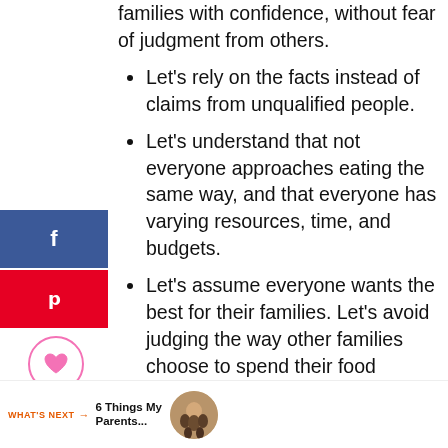families with confidence, without fear of judgment from others.
Let's rely on the facts instead of claims from unqualified people.
Let's understand that not everyone approaches eating the same way, and that everyone has varying resources, time, and budgets.
Let's assume everyone wants the best for their families. Let's avoid judging the way other families choose to spend their food dollars.
Let's remember that our words about to our children, friends, neighbors, and on social media–have an impact.
WHAT'S NEXT → 6 Things My Parents...